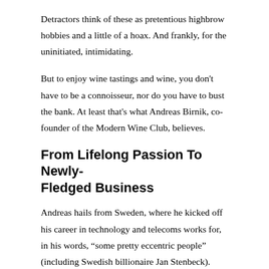Detractors think of these as pretentious highbrow hobbies and a little of a hoax. And frankly, for the uninitiated, intimidating.
But to enjoy wine tastings and wine, you don't have to be a connoisseur, nor do you have to bust the bank. At least that's what Andreas Birnik, co-founder of the Modern Wine Club, believes.
From Lifelong Passion To Newly-Fledged Business
Andreas hails from Sweden, where he kicked off his career in technology and telecoms works for, in his words, “some pretty eccentric people” (including Swedish billionaire Jan Stenbeck). Now, he’s based in Singapore, where he has lived for nearly two decades.